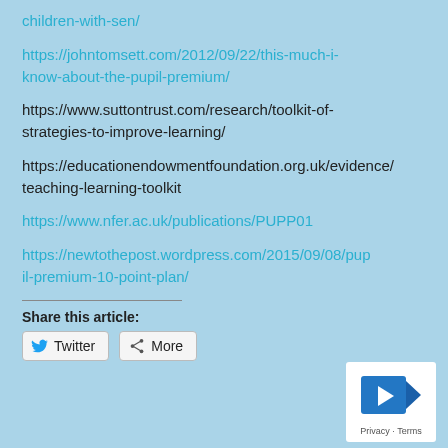children-with-sen/
https://johntomsett.com/2012/09/22/this-much-i-know-about-the-pupil-premium/
https://www.suttontrust.com/research/toolkit-of-strategies-to-improve-learning/
https://educationendowmentfoundation.org.uk/evidence/teaching-learning-toolkit
https://www.nfer.ac.uk/publications/PUPP01
https://newtothepost.wordpress.com/2015/09/08/pupil-premium-10-point-plan/
Share this article:
Twitter   More